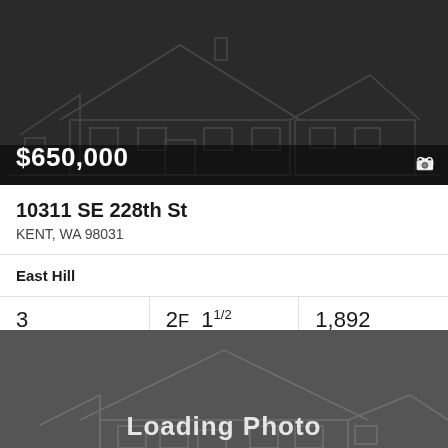[Figure (photo): Dark gray real estate listing card with house outline illustration, showing price $650,000 and photo count 30]
10311 SE 228th St
KENT, WA 98031
East Hill
3 Beds
2F 11/2 Baths
1,892 Sq.Ft.
MLS® #: 1980129
[Figure (photo): Dark gray real estate listing card placeholder with house outline and 'Loading Photo' text, heart icon in top right]